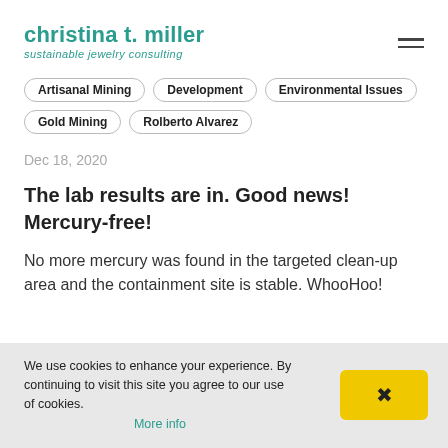christina t. miller
sustainable jewelry consulting
Artisanal Mining
Development
Environmental Issues
Gold Mining
Rolberto Alvarez
Dec 18, 2020
The lab results are in. Good news! Mercury-free!
No more mercury was found in the targeted clean-up area and the containment site is stable. WhooHoo!
We use cookies to enhance your experience. By continuing to visit this site you agree to our use of cookies. More info